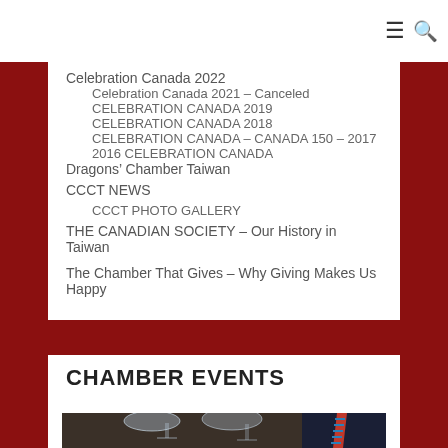≡ 🔍
Celebration Canada 2022
Celebration Canada 2021 – Canceled
CELEBRATION CANADA 2019
CELEBRATION CANADA 2018
CELEBRATION CANADA – CANADA 150 – 2017
2016 CELEBRATION CANADA
Dragons' Chamber Taiwan
CCCT NEWS
CCCT PHOTO GALLERY
THE CANADIAN SOCIETY – Our History in Taiwan
The Chamber That Gives – Why Giving Makes Us Happy
CHAMBER EVENTS
[Figure (photo): Photo showing wine glasses and a person in a suit with a striped tie at what appears to be a formal event or dinner]